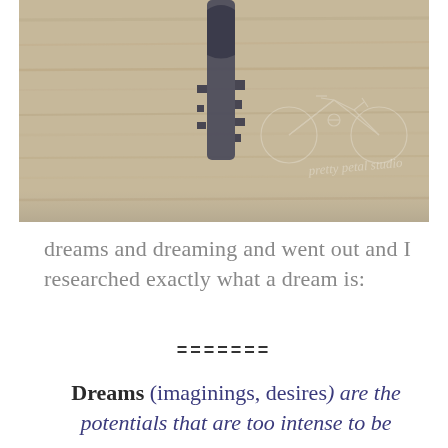[Figure (photo): A vintage key lying on a wooden surface, with a faint watermark of a bicycle and the text 'pretty petal studio' in cursive script overlay.]
dreams and dreaming and went out and I researched exactly what a dream is:
=======
Dreams (imaginings, desires) are the potentials that are too intense to be